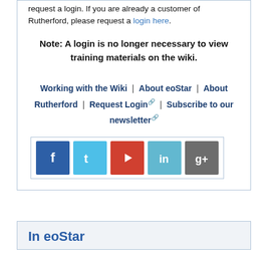request a login. If you are already a customer of Rutherford, please request a login here.
Note: A login is no longer necessary to view training materials on the wiki.
Working with the Wiki | About eoStar | About Rutherford | Request Login | Subscribe to our newsletter
[Figure (infographic): Row of five social media icon buttons: Facebook (blue), Twitter (light blue), YouTube (red), LinkedIn (light blue), Google+ (gray)]
In eoStar